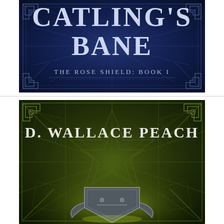[Figure (illustration): Book cover for 'Catling's Bane - The Rose Shield: Book I' by D. Wallace Peach. Top portion shows dark navy blue background with ornate Celtic knotwork pattern and large serif text reading 'CATLING'S BANE' with subtitle 'THE ROSE SHIELD: BOOK I'.]
[Figure (illustration): Bottom book cover image showing dark olive/green background with ornate geometric and star-burst patterns in glowing yellow-green. Large serif text reads 'D. WALLACE PEACH'. A metallic shield emblem appears at the bottom center.]